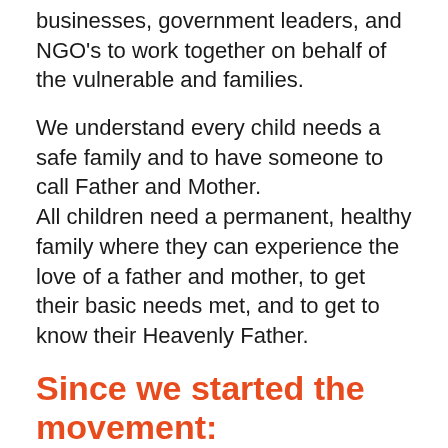businesses, government leaders, and NGO's to work together on behalf of the vulnerable and families.
We understand every child needs a safe family and to have someone to call Father and Mother.
All children need a permanent, healthy family where they can experience the love of a father and mother, to get their basic needs met, and to get to know their Heavenly Father.
Since we started the movement:
Vision casting events in all regions of Burundi